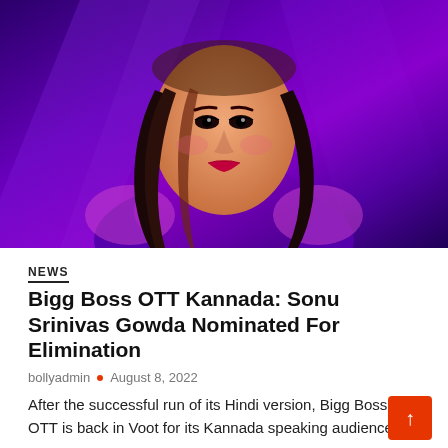[Figure (photo): Young Indian woman smiling, wearing a dark purple outfit and gold necklace, with long dark hair with reddish highlights, posed against a purple gradient background with diagonal streaks of light.]
NEWS
Bigg Boss OTT Kannada: Sonu Srinivas Gowda Nominated For Elimination
bollyadmin • August 8, 2022
After the successful run of its Hindi version, Bigg Boss OTT is back in Voot for its Kannada speaking audience.